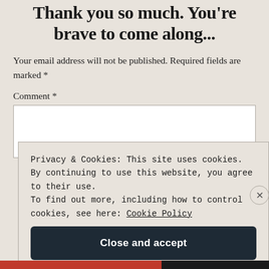Thank you so much. You're brave to come along...
Your email address will not be published. Required fields are marked *
Comment *
[Figure (other): Empty comment text input box (white rectangle with border)]
Privacy & Cookies: This site uses cookies. By continuing to use this website, you agree to their use. To find out more, including how to control cookies, see here: Cookie Policy
Close and accept